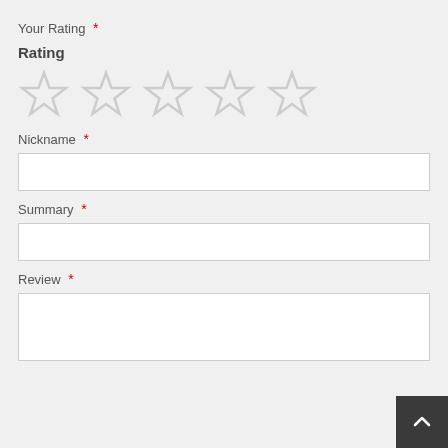Your Rating *
Rating
[Figure (other): Five empty star icons for rating selection]
Nickname *
Summary *
Review *